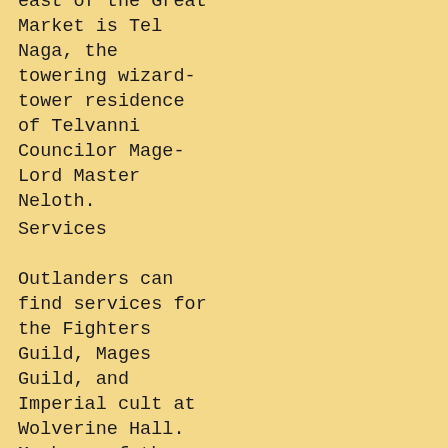east of the Great Market is Tel Naga, the towering wizard-tower residence of Telvanni Councilor Mage-Lord Master Neloth.
Services
Outlanders can find services for the Fighters Guild, Mages Guild, and Imperial cult at Wolverine Hall. Members of the Thieves Guild congregate at Dirty Muriel's Cornerclub. Telvanni Great House and Tribunal Temple services are all housed within the